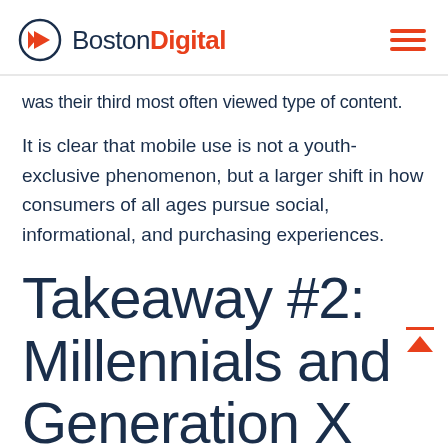Boston Digital
was their third most often viewed type of content.
It is clear that mobile use is not a youth-exclusive phenomenon, but a larger shift in how consumers of all ages pursue social, informational, and purchasing experiences.
Takeaway #2: Millennials and Generation X